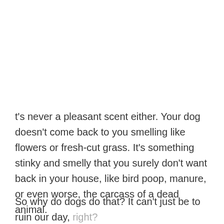t's never a pleasant scent either. Your dog doesn't come back to you smelling like flowers or fresh-cut grass. It's something stinky and smelly that you surely don't want back in your house, like bird poop, manure, or even worse, the carcass of a dead animal.
So why do dogs do that? It can't just be to ruin our day, right?